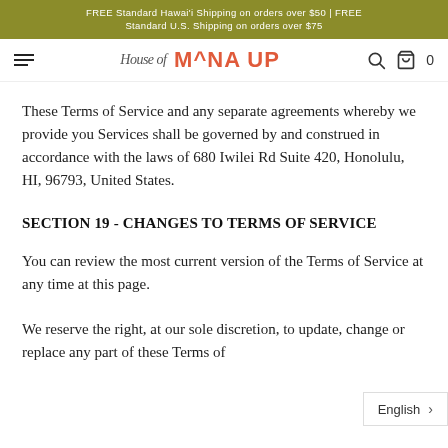FREE Standard Hawai'i Shipping on orders over $50 | FREE Standard U.S. Shipping on orders over $75
[Figure (logo): House of MANA UP logo with hamburger menu, search icon, and cart icon]
These Terms of Service and any separate agreements whereby we provide you Services shall be governed by and construed in accordance with the laws of 680 Iwilei Rd Suite 420, Honolulu, HI, 96793, United States.
SECTION 19 - CHANGES TO TERMS OF SERVICE
You can review the most current version of the Terms of Service at any time at this page.
We reserve the right, at our sole discretion, to update, change or replace any part of these Terms of